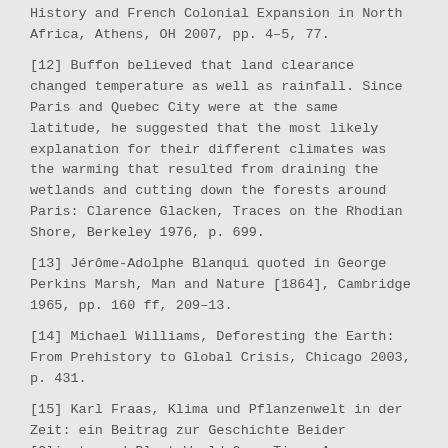History and French Colonial Expansion in North Africa, Athens, OH 2007, pp. 4–5, 77.
[12] Buffon believed that land clearance changed temperature as well as rainfall. Since Paris and Quebec City were at the same latitude, he suggested that the most likely explanation for their different climates was the warming that resulted from draining the wetlands and cutting down the forests around Paris: Clarence Glacken, Traces on the Rhodian Shore, Berkeley 1976, p. 699.
[13] Jérôme-Adolphe Blanqui quoted in George Perkins Marsh, Man and Nature [1864], Cambridge 1965, pp. 160 ff, 209–13.
[14] Michael Williams, Deforesting the Earth: From Prehistory to Global Crisis, Chicago 2003, p. 431.
[15] Karl Fraas, Klima und Pflanzenwelt in der Zeit: ein Beitrag zur Geschichte Beider [Climate and Plant World Over Time: A Contribution to History], Landshut 1847. Fraas was an important influence on Perkins Marsh and his famous thesis in Man and Nature that humanity was catastrophically